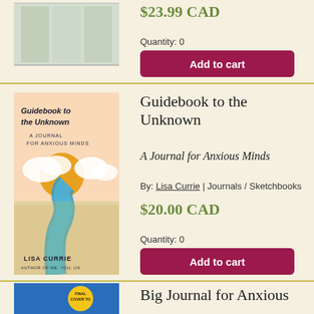$23.99 CAD
Quantity: 0
Add to cart
[Figure (illustration): Book cover, partially visible, light grey/green spine design]
Guidebook to the Unknown
A Journal for Anxious Minds
By: Lisa Currie | Journals / Sketchbooks
$20.00 CAD
Quantity: 0
Add to cart
[Figure (illustration): Book cover for Guidebook to the Unknown by Lisa Currie — peach background with clouds, sun, and a river path]
Big Journal for Anxious
[Figure (illustration): Book cover partially visible, blue background with yellow circular badge reading FINAL COVER TO]